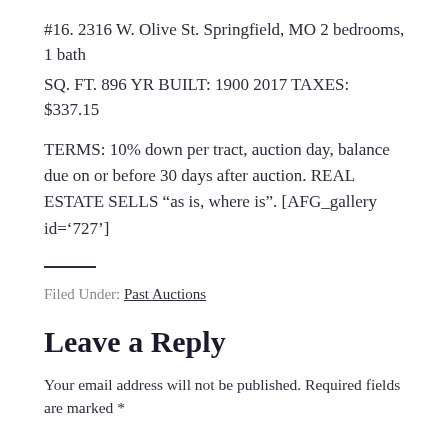#16. 2316 W. Olive St. Springfield, MO 2 bedrooms, 1 bath
SQ. FT. 896 YR BUILT: 1900 2017 TAXES: $337.15
TERMS: 10% down per tract, auction day, balance due on or before 30 days after auction. REAL ESTATE SELLS “as is, where is”. [AFG_gallery id=‘727’]
Filed Under: Past Auctions
Leave a Reply
Your email address will not be published. Required fields are marked *